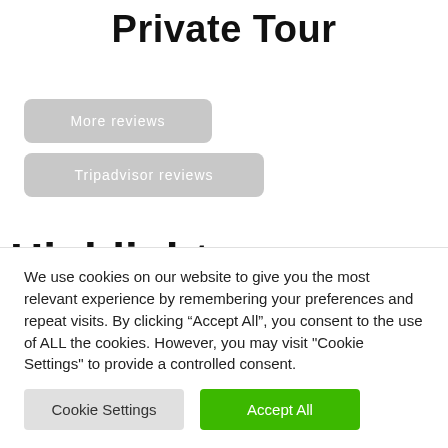Private Tour
More reviews
Tripadvisor reviews
Highlights
We use cookies on our website to give you the most relevant experience by remembering your preferences and repeat visits. By clicking “Accept All”, you consent to the use of ALL the cookies. However, you may visit "Cookie Settings" to provide a controlled consent.
Cookie Settings
Accept All